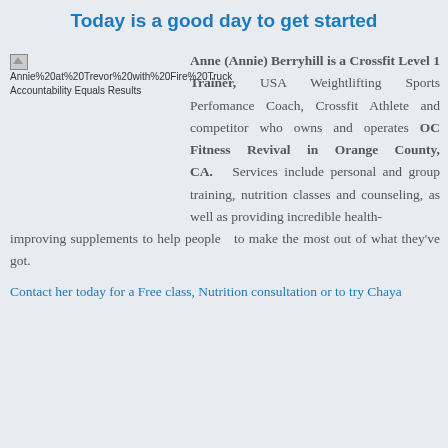Today is a good day to get started
[Figure (photo): Image placeholder showing Annie at Trevor with Fire Truck Accountability Equals Results]
Anne (Annie) Berryhill is a Crossfit Level 1 Trainer, USA Weightlifting Sports Perfomance Coach, Crossfit Athlete and competitor who owns and operates OC Fitness Revival in Orange County, CA. Services include personal and group training, nutrition classes and counseling, as well as providing incredible health-improving supplements to help people to make the most out of what they've got.
Contact her today for a Free class, Nutrition consultation or to try Chaya